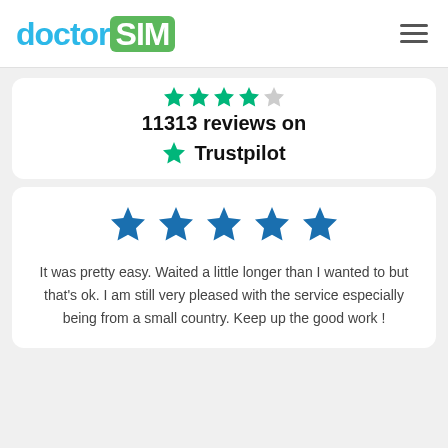doctorSIM
[Figure (logo): Partially visible star rating row (truncated at top)]
11313 reviews on Trustpilot
[Figure (illustration): Five filled dark blue/teal stars rating]
It was pretty easy. Waited a little longer than I wanted to but that's ok. I am still very pleased with the service especially being from a small country. Keep up the good work !